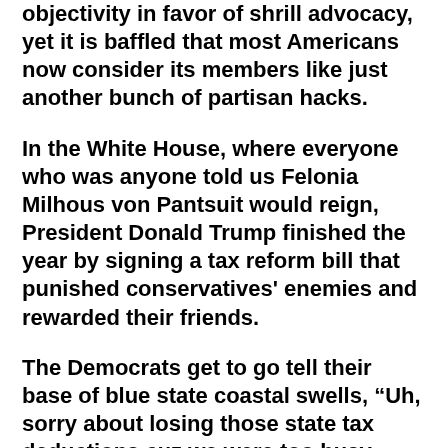objectivity in favor of shrill advocacy, yet it is baffled that most Americans now consider its members like just another bunch of partisan hacks.
In the White House, where everyone who was anyone told us Felonia Milhous von Pantsuit would reign, President Donald Trump finished the year by signing a tax reform bill that punished conservatives' enemies and rewarded their friends.
The Democrats get to go tell their base of blue state coastal swells, “Uh, sorry about losing those state tax deductions cuz we were too busy resisting to actually negotiate and thereby get a seat at the table.” Cue the Sad Trombone.
Trump plays for keeps, unlike the squish-cons who play for media hugs and invitations to the